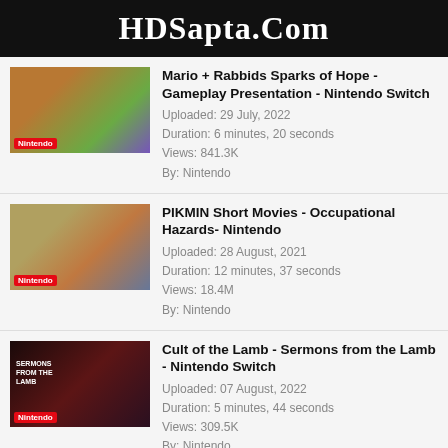HDSapta.Com
Mario + Rabbids Sparks of Hope - Gameplay Presentation - Nintendo Switch
Uploaded: 29 July, 2022
Duration: 6 minutes, 20 seconds
Views: 841.3K
By: Nintendo
PIKMIN Short Movies - Occupational Hazards- Nintendo
Uploaded: 28 August, 2021
Duration: 12 minutes, 37 seconds
Views: 18.4M
By: Nintendo
Cult of the Lamb - Sermons from the Lamb - Nintendo Switch
Uploaded: 07 August, 2022
Duration: 5 minutes, 44 seconds
Views: 309.5K
By: Nintendo
Minecraft Legends - Fiery Foes Official Trailer - Nintendo Switch
Uploaded: 26 August, 2022
Duration: 1 minute, 34 seconds
Views: 98.8K